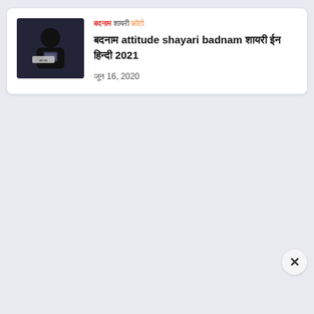[Figure (photo): Dark-toned thumbnail image showing a person holding a phone, with a small overlay label]
बदनाम शायरी फ़ोटो
बदनाम attitude shayari badnam शायरी ईन हिन्दी 2021
जून 16, 2020